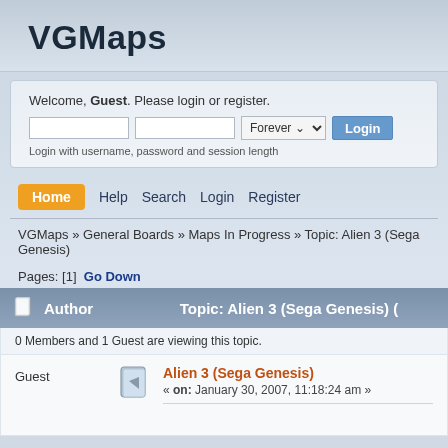VGMaps
Welcome, Guest. Please login or register. Login with username, password and session length
Home  Help  Search  Login  Register
VGMaps » General Boards » Maps In Progress » Topic: Alien 3 (Sega Genesis)
Pages: [1]  Go Down
| Author | Topic: Alien 3 (Sega Genesis) ( |
| --- | --- |
| 0 Members and 1 Guest are viewing this topic. |  |
| Guest | Alien 3 (Sega Genesis)
« on: January 30, 2007, 11:18:24 am » |
0 Members and 1 Guest are viewing this topic.
Guest
Alien 3 (Sega Genesis)
« on: January 30, 2007, 11:18:24 am »